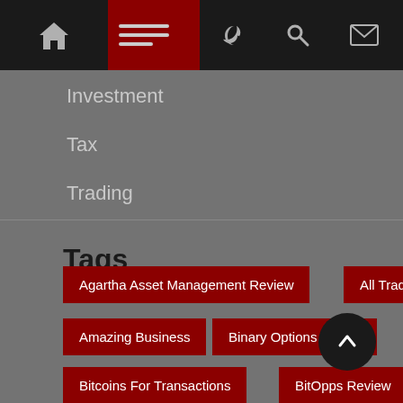Navigation bar with home icon, menu, dark mode toggle, search, and mail icons
Investment
Tax
Trading
Tags
Agartha Asset Management Review
All Traders
Amazing Business
Binary Options Broker
Bitcoins For Transactions
BitOpps Review
CoinspayWorld Review
Crypto Fans
Crypto Trading
CTmatador Review